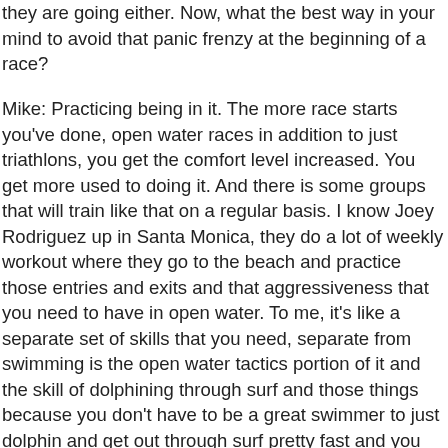they are going either. Now, what the best way in your mind to avoid that panic frenzy at the beginning of a race?
Mike: Practicing being in it. The more race starts you've done, open water races in addition to just triathlons, you get the comfort level increased. You get more used to doing it. And there is some groups that will train like that on a regular basis. I know Joey Rodriguez up in Santa Monica, they do a lot of weekly workout where they go to the beach and practice those entries and exits and that aggressiveness that you need to have in open water. To me, it's like a separate set of skills that you need, separate from swimming is the open water tactics portion of it and the skill of dolphining through surf and those things because you don't have to be a great swimmer to just dolphin and get out through surf pretty fast and you could be clear of a lot of people in a hurry if you just know how to do that. Once you're around that first buoy, things settle down a lot. So, if you can just figure out how to get to that